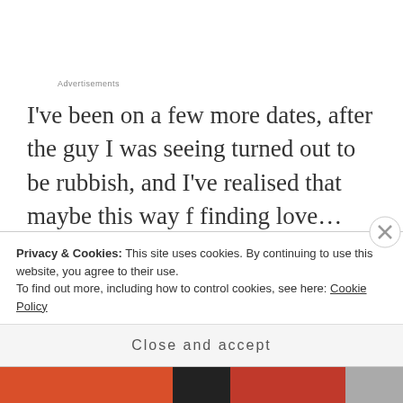Advertisements
I've been on a few more dates, after the guy I was seeing turned out to be rubbish, and I've realised that maybe this way f finding love… Isn't for me. It's nice to take a few hours out of your day to meet a new person, be bought coffee and cocktails, talk sweet nothings until I'm blue in the face. But, that's really not who I am, if I'm perfectly honest. I'm back
Privacy & Cookies: This site uses cookies. By continuing to use this website, you agree to their use.
To find out more, including how to control cookies, see here: Cookie Policy
Close and accept